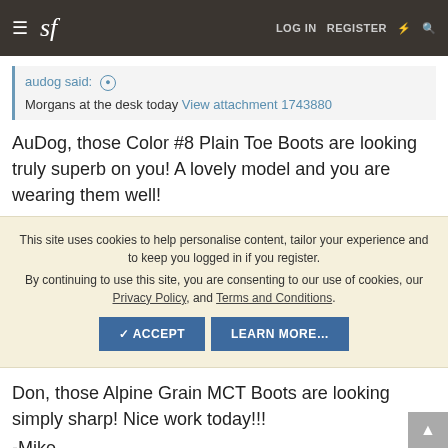sf | LOG IN  REGISTER
audog said:
Morgans at the desk today View attachment 1743880
AuDog, those Color #8 Plain Toe Boots are looking truly superb on you! A lovely model and you are wearing them well!
This site uses cookies to help personalise content, tailor your experience and to keep you logged in if you register. By continuing to use this site, you are consenting to our use of cookies, our Privacy Policy, and Terms and Conditions.
Don, those Alpine Grain MCT Boots are looking simply sharp! Nice work today!!!
-Mike